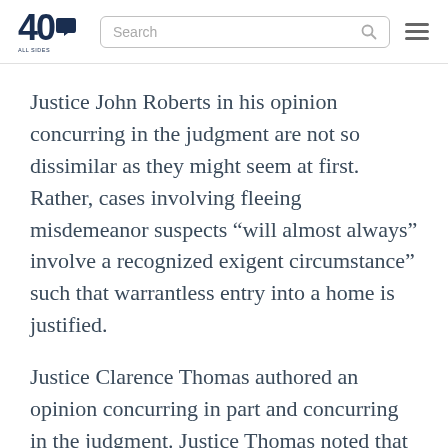[Figure (logo): 40 with speech bubble logo and tagline text]
Justice John Roberts in his opinion concurring in the judgment are not so dissimilar as they might seem at first. Rather, cases involving fleeing misdemeanor suspects “will almost always” involve a recognized exigent circumstance” such that warrantless entry into a home is justified.
Justice Clarence Thomas authored an opinion concurring in part and concurring in the judgment. Justice Thomas noted that